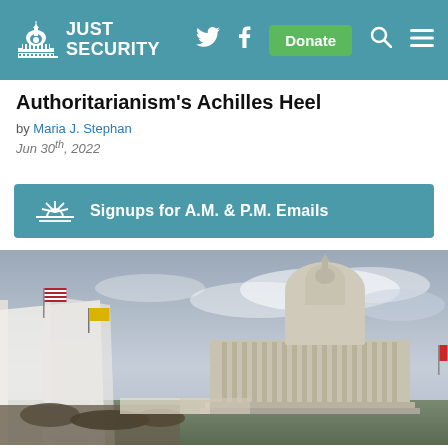Just Security — navigation bar with Twitter, Facebook, Donate, Search, Menu
Authoritarianism's Achilles Heel
by Maria J. Stephan
Jun 30th, 2022
Signups for A.M. & P.M. Emails
[Figure (photo): Crowd scene at the US Capitol building with flags and scaffolding under cloudy skies]